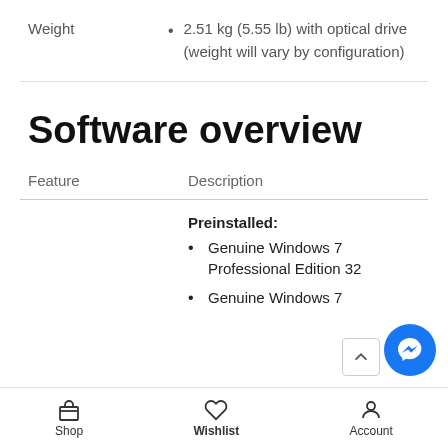2.51 kg (5.55 lb) with optical drive (weight will vary by configuration)
Software overview
| Feature | Description |
| --- | --- |
|  | Preinstalled:
• Genuine Windows 7 Professional Edition 32
• Genuine Windows 7 |
Shop   Wishlist   Account